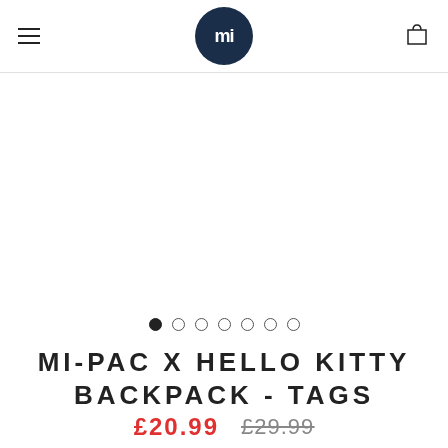mi (logo)
[Figure (photo): Product image area (blank/white) for Mi-Pac x Hello Kitty Backpack - Tags]
[Figure (other): Image carousel dot indicators: 7 dots, first one active/filled]
MI-PAC X HELLO KITTY BACKPACK - TAGS
£20.99  £29.99